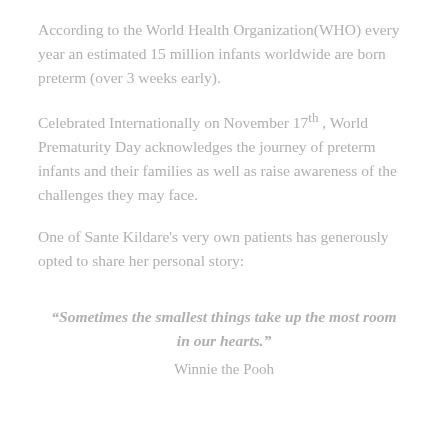According to the World Health Organization(WHO) every year an estimated 15 million infants worldwide are born preterm (over 3 weeks early).
Celebrated Internationally on November 17th , World Prematurity Day acknowledges the journey of preterm infants and their families as well as raise awareness of the challenges they may face.
One of Sante Kildare's very own patients has generously opted to share her personal story:
“Sometimes the smallest things take up the most room in our hearts.”
Winnie the Pooh